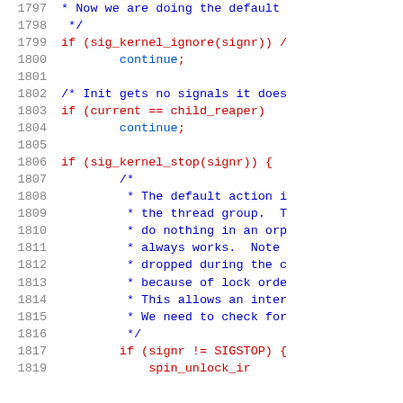[Figure (screenshot): Source code listing showing lines 1797-1819 of a C/kernel source file. Line numbers in gray on the left, code in dark red, comments in blue.]